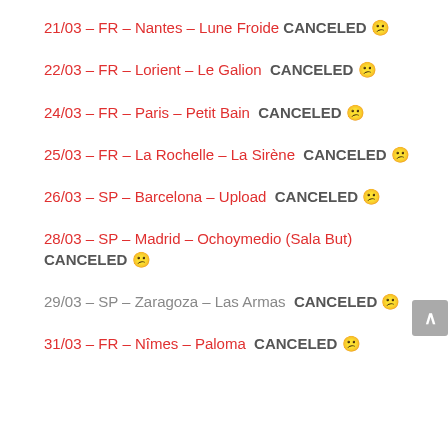21/03 – FR – Nantes – Lune Froide CANCELED 😕
22/03 – FR – Lorient – Le Galion CANCELED 😕
24/03 – FR – Paris – Petit Bain CANCELED 😕
25/03 – FR – La Rochelle – La Sirène CANCELED 😕
26/03 – SP – Barcelona – Upload CANCELED 😕
28/03 – SP – Madrid – Ochoymedio (Sala But) CANCELED 😕
29/03 – SP – Zaragoza – Las Armas CANCELED 😕
31/03 – FR – Nîmes – Paloma CANCELED 😕